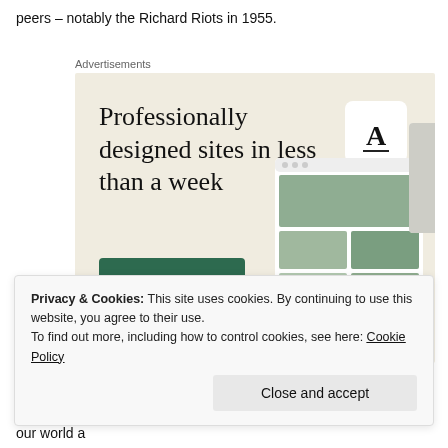peers – notably the Richard Riots in 1955.
Advertisements
[Figure (screenshot): Advertisement banner with beige background showing the text 'Professionally designed sites in less than a week' with a green 'Explore options' button and website mockup images on the right side.]
Privacy & Cookies: This site uses cookies. By continuing to use this website, you agree to their use.
To find out more, including how to control cookies, see here: Cookie Policy
He helped shaped the NHL of today. Scratch that, he helped make our world a